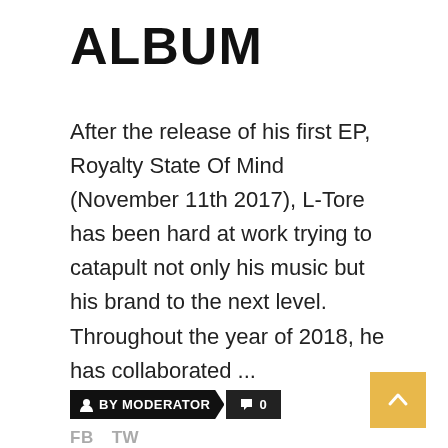ALBUM
After the release of his first EP, Royalty State Of Mind (November 11th 2017), L-Tore has been hard at work trying to catapult not only his music but his brand to the next level. Throughout the year of 2018, he has collaborated ...
BY MODERATOR  0
FB  TW